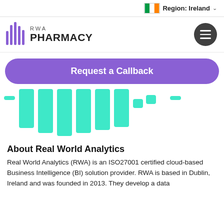Region: Ireland
[Figure (logo): RWA Pharmacy logo with purple vertical bars and text 'RWA PHARMACY']
Request a Callback
[Figure (illustration): Teal/cyan barcode-style vertical bars graphic]
About Real World Analytics
Real World Analytics (RWA) is an ISO27001 certified cloud-based Business Intelligence (BI) solution provider. RWA is based in Dublin, Ireland and was founded in 2013. They develop a data